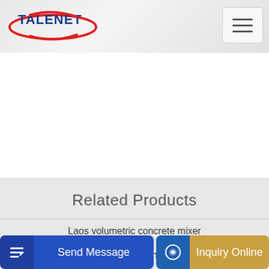TALENET
Related Products
Laos volumetric concrete mixer
Alexs Concrete Pumping Anaheim CA 92805-4651
Send Message
Inquiry Online